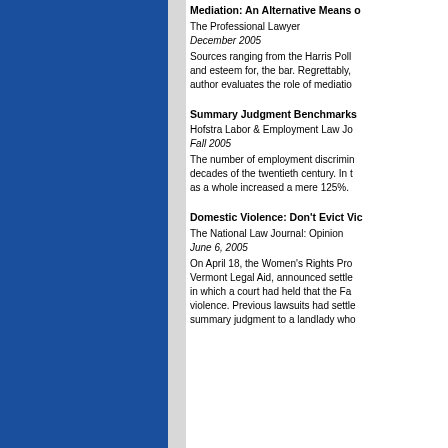Mediation: An Alternative Means o...
The Professional Lawyer
December 2005
Sources ranging from the Harris Poll... and esteem for, the bar. Regrettably, author evaluates the role of mediatio...
Summary Judgment Benchmarks...
Hofstra Labor & Employment Law Jo...
Fall 2005
The number of employment discrimin... decades of the twentieth century. In t... as a whole increased a mere 125%.
Domestic Violence: Don't Evict Vic...
The National Law Journal: Opinion
June 6, 2005
On April 18, the Women's Rights Pro... Vermont Legal Aid, announced settle... in which a court had held that the Fa... violence. Previous lawsuits had settle... summary judgment to a landlady who...